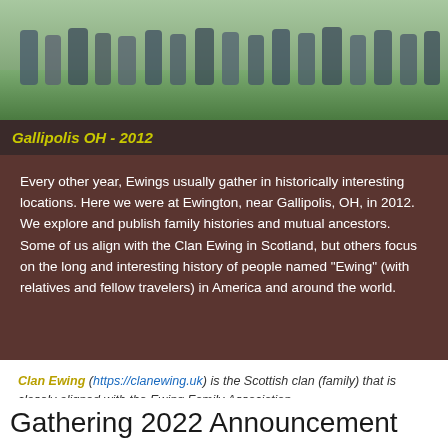[Figure (photo): Group photo of Ewing family members gathered at Ewington near Gallipolis, OH in 2012, standing and sitting outdoors on grass.]
Gallipolis OH - 2012
Every other year, Ewings usually gather in historically interesting locations. Here we were at Ewington, near Gallipolis, OH, in 2012. We explore and publish family histories and mutual ancestors. Some of us align with the Clan Ewing in Scotland, but others focus on the long and interesting history of people named "Ewing" (with relatives and fellow travelers) in America and around the world.
Clan Ewing (https://clanewing.uk) is the Scottish clan (family) that is closely aligned with the Ewing Family Association.
Gathering 2022 Announcement
[Figure (photo): Partial image of a dark metal or wooden object at the bottom of the page, appears to be an artifact or historical item.]